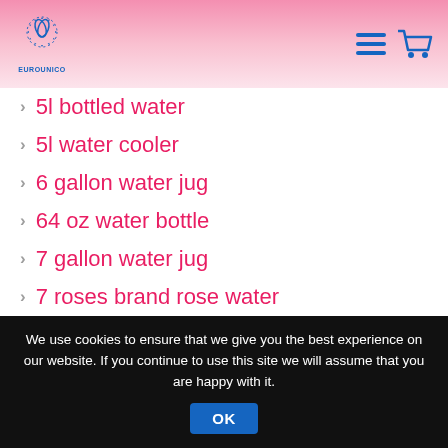EUROUNICO logo, hamburger menu, cart icon
5l bottled water
5l water cooler
6 gallon water jug
64 oz water bottle
7 gallon water jug
7 roses brand rose water
8 gallon water jug
8 ounce bottled water
We use cookies to ensure that we give you the best experience on our website. If you continue to use this site we will assume that you are happy with it.